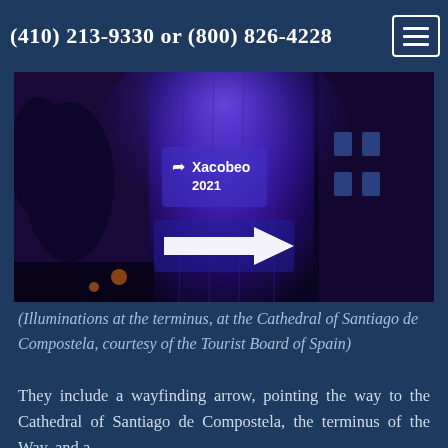(410) 213-9330 or (800) 826-4228
[Figure (photo): Night photo of the Cathedral of Santiago de Compostela illuminated in blue light with 'Xacobeo 2021' and a wayfinding arrow projected onto the stone tower facade.]
(Illuminations at the terminus, at the Cathedral of Santiago de Compostela, courtesy of the Tourist Board of Spain)
They include a wayfinding arrow, pointing the way to the Cathedral of Santiago de Compostela, the terminus of the Way, and a